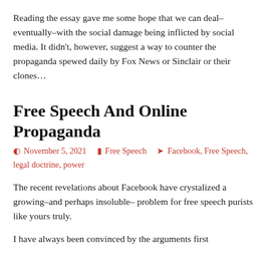Reading the essay gave me some hope that we can deal–eventually–with the social damage being inflicted by social media. It didn't, however, suggest a way to counter the propaganda spewed daily by Fox News or Sinclair or their clones…
Free Speech And Online Propaganda
November 5, 2021   Free Speech   Facebook, Free Speech, legal doctrine, power
The recent revelations about Facebook have crystalized a growing–and perhaps insoluble– problem for free speech purists like yours truly.
I have always been convinced by the arguments first